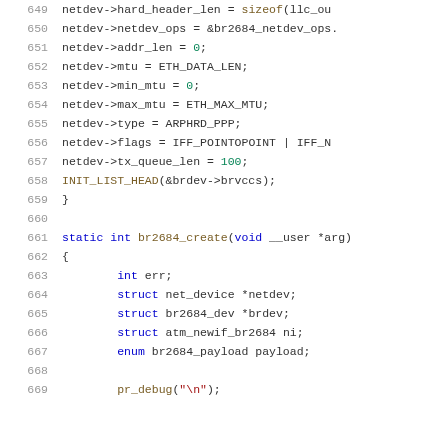[Figure (screenshot): Source code screenshot showing C code lines 649-669 with syntax highlighting. Lines show netdev struct assignments and a br2684_create function definition with variable declarations.]